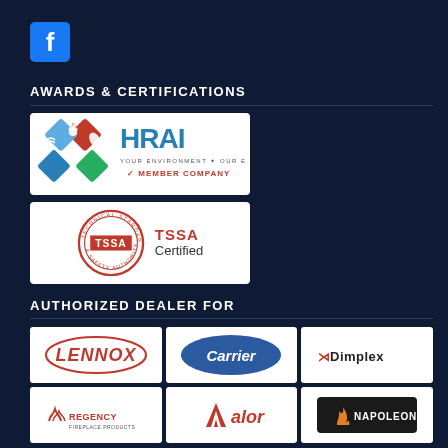[Figure (logo): Facebook logo icon in blue square]
AWARDS & CERTIFICATIONS
[Figure (logo): HRAI Member Company logo - Heating Refrigeration and Air Conditioning Institute]
[Figure (logo): TSSA Certified logo - Technical Standards & Safety Authority]
AUTHORIZED DEALER FOR
[Figure (logo): Lennox logo]
[Figure (logo): Carrier logo]
[Figure (logo): Dimplex logo]
[Figure (logo): Regency Fireplace Products logo]
[Figure (logo): Valor logo]
[Figure (logo): Napoleon logo]